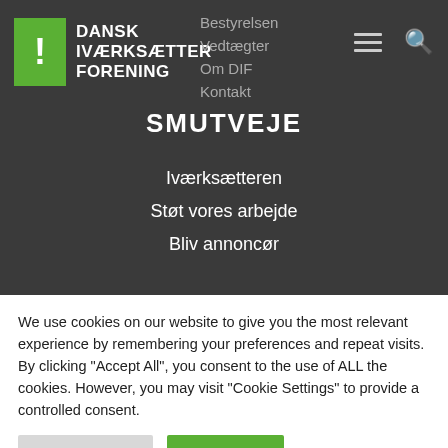DANSK IVÆRKSÆTTER FORENING
Bestyrelsen
Vedtægter
Om DIF
Kontakt
SMUTVEJE
Iværksætteren
Støt vores arbejde
Bliv annoncør
We use cookies on our website to give you the most relevant experience by remembering your preferences and repeat visits. By clicking "Accept All", you consent to the use of ALL the cookies. However, you may visit "Cookie Settings" to provide a controlled consent.